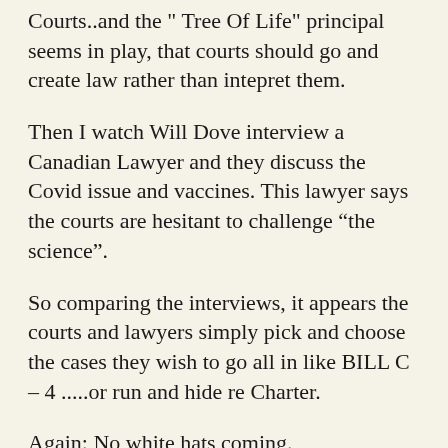Courts..and the “ Tree Of Life” principal seems in play, that courts should go and create law rather than intepret them.
Then I watch Will Dove interview a Canadian Lawyer and they discuss the Covid issue and vaccines. This lawyer says the courts are hesitant to challenge “the science”.
So comparing the interviews, it appears the courts and lawyers simply pick and choose the cases they wish to go all in like BILL C – 4 .....or run and hide re Charter.
Again: No white hats coming.
RAH